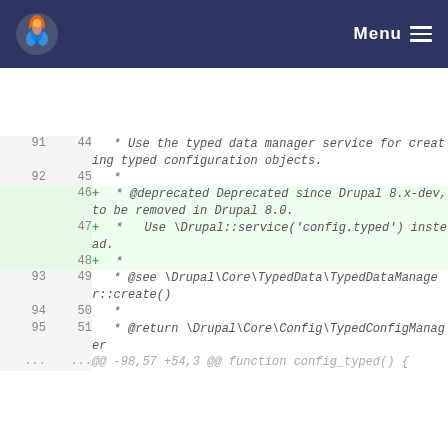Menu
[Figure (screenshot): Code diff view showing lines 91-95 and added lines 46-48, with Drupal PHP docblock comments about typed data manager service, deprecated annotation, and return type.]
@@ -98,57 +54,3 @@ function config_typed() {